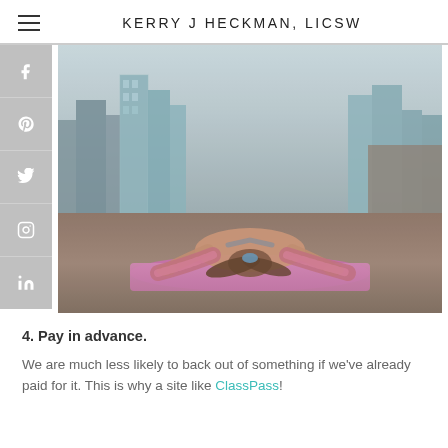KERRY J HECKMAN, LICSW
[Figure (photo): Woman doing a yoga stretch (child's pose / straddle forward fold) on a pink yoga mat on a rooftop, with a city skyline in the background. She has dark hair and is wearing a sports bra and colorful leggings.]
4. Pay in advance.
We are much less likely to back out of something if we've already paid for it. This is why a site like ClassPass!